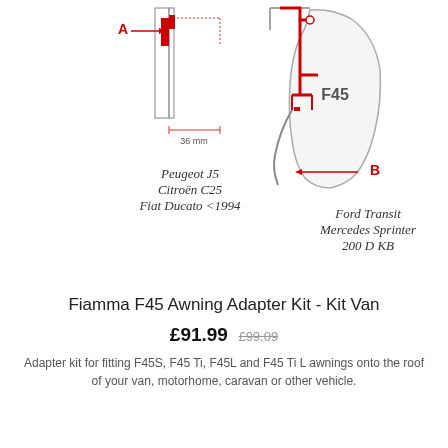[Figure (engineering-diagram): Two technical diagrams showing adapter kit installation. Left diagram shows a cross-section view with label A pointing to a component and dimension 36mm indicated, for Peugeot J5, Citroën C25, Fiat Ducato <1994. Right diagram shows F45 awning adapter mounted on a vehicle roof profile with label B pointing to a component, for Ford Transit, Mercedes Sprinter, 200 D KB.]
Peugeot J5
Citroën C25
Fiat Ducato <1994
Ford Transit
Mercedes Sprinter
200 D KB
Fiamma F45 Awning Adapter Kit - Kit Van
£91.99  £99.09
Adapter kit for fitting F45S, F45 Ti, F45L and F45 Ti L awnings onto the roof of your van, motorhome, caravan or other vehicle.